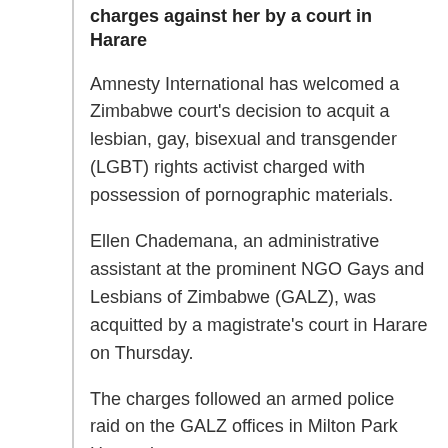charges against her by a court in Harare
Amnesty International has welcomed a Zimbabwe court's decision to acquit a lesbian, gay, bisexual and transgender (LGBT) rights activist charged with possession of pornographic materials.
Ellen Chademana, an administrative assistant at the prominent NGO Gays and Lesbians of Zimbabwe (GALZ), was acquitted by a magistrate's court in Harare on Thursday.
The charges followed an armed police raid on the GALZ offices in Milton Park Harare in